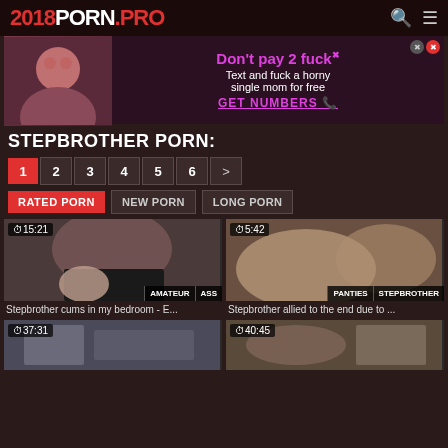2018PORN.PRO
[Figure (photo): Advertisement banner with woman photo and text: Don't pay 2 fuck. Text and fuck a horny single mom for free. GET NUMBERS]
STEPBROTHER PORN:
1 2 3 4 5 6 >
RATED PORN | NEW PORN | LONG PORN
[Figure (photo): Video thumbnail with duration 15:21, tags AMATEUR, ASS]
Stepbrother cums in my bedroom - E...
[Figure (photo): Video thumbnail with duration 5:42, tags PANTIES, STEPBROTHER]
Stepbrother allied to the end due to ...
[Figure (photo): Video thumbnail with duration 37:31]
[Figure (photo): Video thumbnail with duration 40:45]